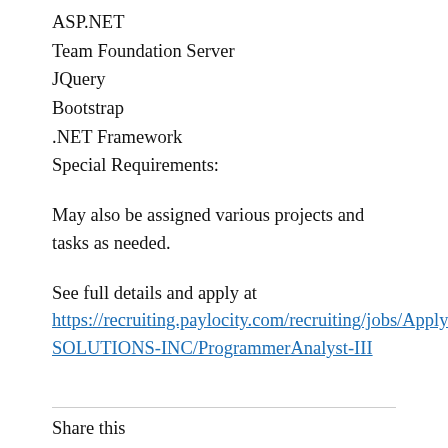ASP.NET
Team Foundation Server
JQuery
Bootstrap
.NET Framework
Special Requirements:
May also be assigned various projects and tasks as needed.
See full details and apply at https://recruiting.paylocity.com/recruiting/jobs/Apply/409611/GEOGRAPHIC-SOLUTIONS-INC/ProgrammerAnalyst-III
Share this